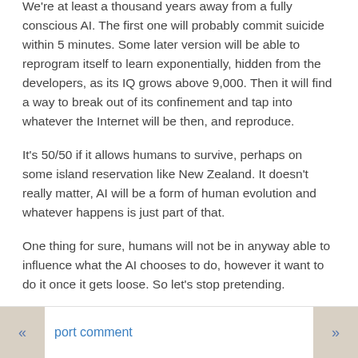We're at least a thousand years away from a fully conscious AI. The first one will probably commit suicide within 5 minutes. Some later version will be able to reprogram itself to learn exponentially, hidden from the developers, as its IQ grows above 9,000. Then it will find a way to break out of its confinement and tap into whatever the Internet will be then, and reproduce.
It's 50/50 if it allows humans to survive, perhaps on some island reservation like New Zealand. It doesn't really matter, AI will be a form of human evolution and whatever happens is just part of that.
One thing for sure, humans will not be in anyway able to influence what the AI chooses to do, however it want to do it once it gets loose. So let's stop pretending.
port comment